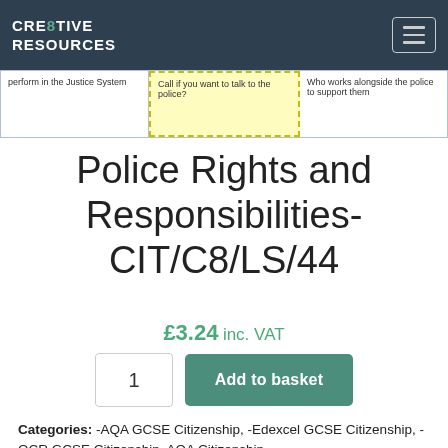CRE8TIVE RESOURCES
[Figure (screenshot): Preview strip showing three card segments about the justice system and police]
Police Rights and Responsibilities- CIT/C8/LS/44
£3.24 inc. VAT
1  Add to basket
Categories: -AQA GCSE Citizenship, -Edexcel GCSE Citizenship, -OCR GCSE Citizenship, AQA Citizenship